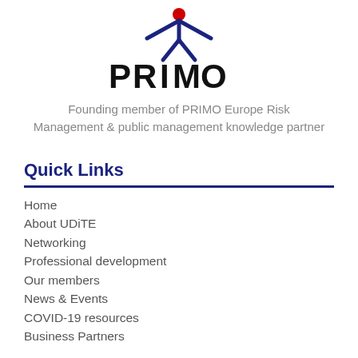[Figure (logo): PRIMO logo with stylized human figure in blue and red above bold text 'PRIMO']
Founding member of PRIMO Europe Risk Management & public management knowledge partner
Quick Links
Home
About UDiTE
Networking
Professional development
Our members
News & Events
COVID-19 resources
Business Partners